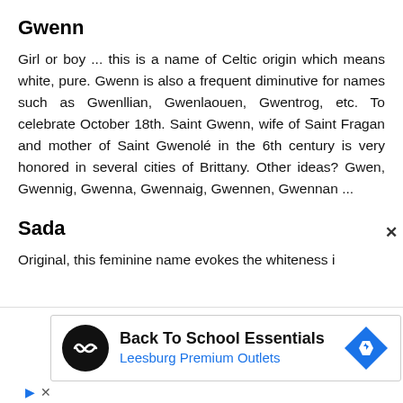Gwenn
Girl or boy ... this is a name of Celtic origin which means white, pure. Gwenn is also a frequent diminutive for names such as Gwenllian, Gwenlaouen, Gwentrog, etc. To celebrate October 18th. Saint Gwenn, wife of Saint Fragan and mother of Saint Gwenolé in the 6th century is very honored in several cities of Brittany. Other ideas? Gwen, Gwennig, Gwenna, Gwennaig, Gwennen, Gwennan ...
Sada
Original, this feminine name evokes the whiteness i
[Figure (other): Advertisement banner for Back To School Essentials at Leesburg Premium Outlets, with a circular logo and a blue diamond navigation icon.]